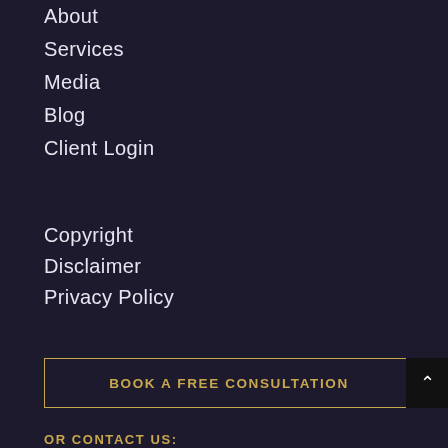About
Services
Media
Blog
Client Login
Copyright
Disclaimer
Privacy Policy
BOOK A FREE CONSULTATION
OR CONTACT US:
Name